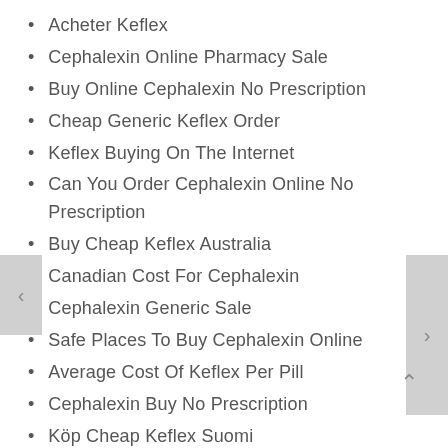Acheter Keflex
Cephalexin Online Pharmacy Sale
Buy Online Cephalexin No Prescription
Cheap Generic Keflex Order
Keflex Buying On The Internet
Can You Order Cephalexin Online No Prescription
Buy Cheap Keflex Australia
Canadian Cost For Cephalexin
Cephalexin Generic Sale
Safe Places To Buy Cephalexin Online
Average Cost Of Keflex Per Pill
Cephalexin Buy No Prescription
Köp Cheap Keflex Suomi
Cephalexin Online Store
Keflex Order Mastercard